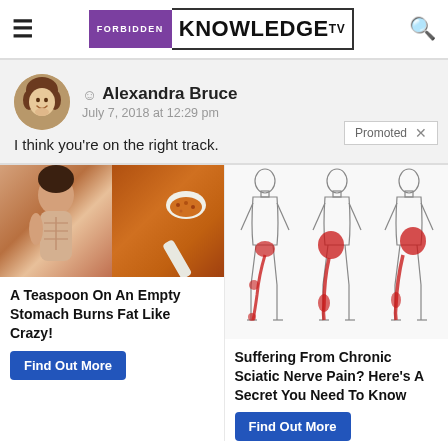FORBIDDEN KNOWLEDGE TV
Alexandra Bruce
July 7, 2018 at 12:29 pm
I think you're on the right track.
[Figure (photo): Ad image: woman showing abs and a spoon with spice powder]
A Teaspoon On An Empty Stomach Burns Fat Like Crazy!
Find Out More
[Figure (illustration): Medical illustration showing sciatic nerve pain locations on body outlines with red highlighted areas]
Suffering From Chronic Sciatic Nerve Pain? Here's A Secret You Need To Know
Find Out More